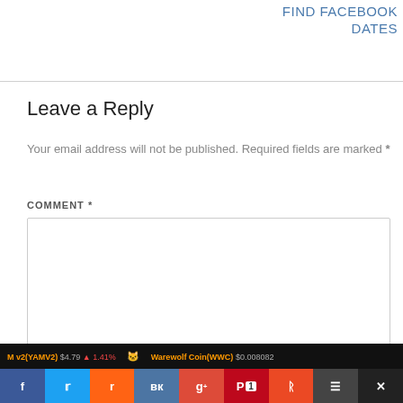FIND FACEBOOK DATES
Leave a Reply
Your email address will not be published. Required fields are marked *
COMMENT *
NAME *
f  twitter  reddit  vk  g+  P 1  su  ≡  ✕